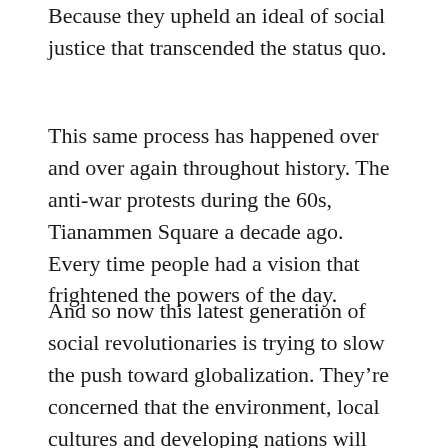Because they upheld an ideal of social justice that transcended the status quo.
This same process has happened over and over again throughout history. The anti-war protests during the 60s, Tianammen Square a decade ago. Every time people had a vision that frightened the powers of the day.
And so now this latest generation of social revolutionaries is trying to slow the push toward globalization. They're concerned that the environment, local cultures and developing nations will suffer. But rather than being applauded for their courage and vision, they are